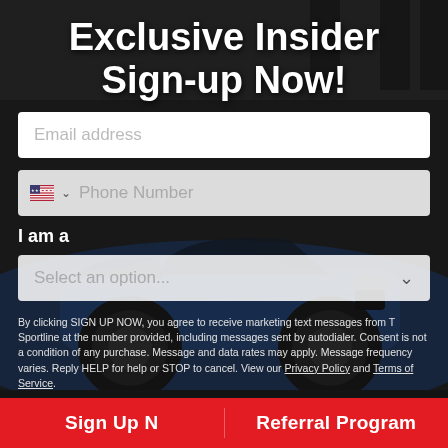Exclusive Insider Sign-up Now!
[Figure (screenshot): Blue sports car (Tesla/T Sportline) in a dark garage setting, used as background image]
Email address
Phone Number
I am a
Select an option...
By clicking SIGN UP NOW, you agree to receive marketing text messages from T Sportline at the number provided, including messages sent by autodialer. Consent is not a condition of any purchase. Message and data rates may apply. Message frequency varies. Reply HELP for help or STOP to cancel. View our Privacy Policy and Terms of Service.
Sign Up N
Referral Program